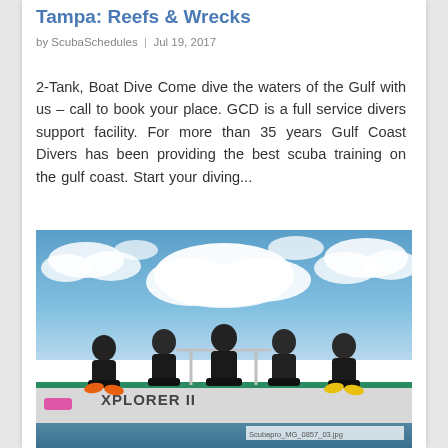Tampa: Reefs & Wrecks
by ScubaSchedules  |  Jul 19, 2017
2-Tank, Boat Dive Come dive the waters of the Gulf with us – call to book your place. GCD is a full service divers support facility. For more than 35 years Gulf Coast Divers has been providing the best scuba training on the gulf coast. Start your diving...
[Figure (photo): Five scuba divers in wetsuits sitting on the back of a dive boat named Explorer II, with blue sky and clouds in the background. A watermark reads Scubapro_MG_0857_03.jpg]